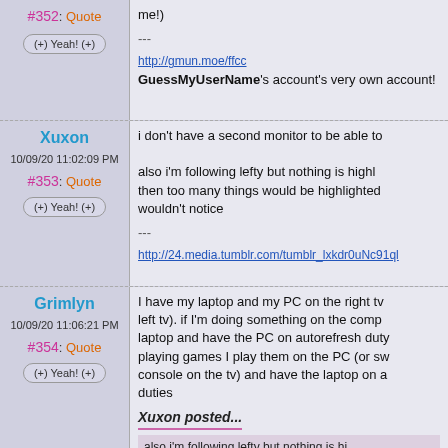Post #352 by unknown user (truncated top). (+) Yeah! (+). me!) --- http://gmun.moe/ffcc GuessMyUserName's account's very own account!
Xuxon 10/09/20 11:02:09 PM #353: Quote (+) Yeah! (+) i don't have a second monitor to be able to ... also i'm following lefty but nothing is highlighted... then too many things would be highlighted... wouldn't notice --- http://24.media.tumblr.com/tumblr_lxkdr0uNc91ql...
Grimlyn 10/09/20 11:06:21 PM #354: Quote (+) Yeah! (+) I have my laptop and my PC on the right tv (left tv). if I'm doing something on the comp... laptop and have the PC on autorefresh duty... playing games I play them on the PC (or sw... console on the tv) and have the laptop on a... duties. Xuxon posted... also i'm following lefty but nothing is hi...